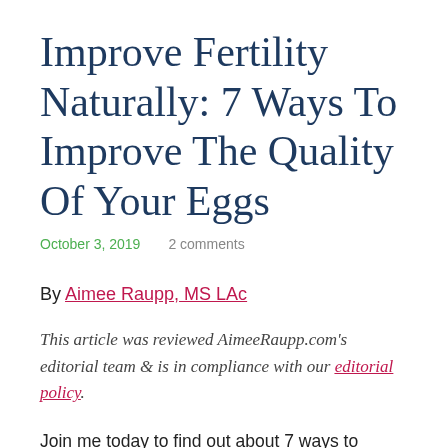Improve Fertility Naturally: 7 Ways To Improve The Quality Of Your Eggs
October 3, 2019    2 comments
By Aimee Raupp, MS LAc
This article was reviewed AimeeRaupp.com's editorial team & is in compliance with our editorial policy.
Join me today to find out about 7 ways to